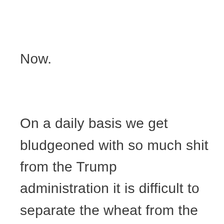Now.
On a daily basis we get bludgeoned with so much shit from the Trump administration it is difficult to separate the wheat from the chaff. Suffice it to say there are so many things wrong it is a waste of time to point out any of the good. Most of the wrong things are larger